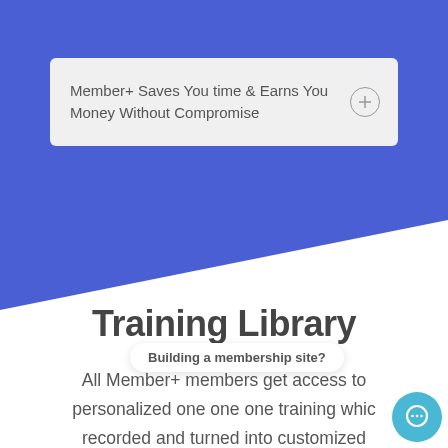Member+ Saves You time & Earns You Money Without Compromise
Training Library
All Member+ members get access to personalized one one one training which recorded and turned into customized documentation. We are also building
[Figure (screenshot): Chat widget with tooltip saying 'Building a membership site?']